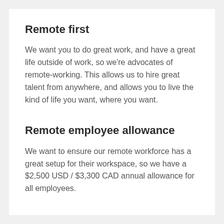Remote first
We want you to do great work, and have a great life outside of work, so we're advocates of remote-working. This allows us to hire great talent from anywhere, and allows you to live the kind of life you want, where you want.
Remote employee allowance
We want to ensure our remote workforce has a great setup for their workspace, so we have a $2,500 USD / $3,300 CAD annual allowance for all employees.